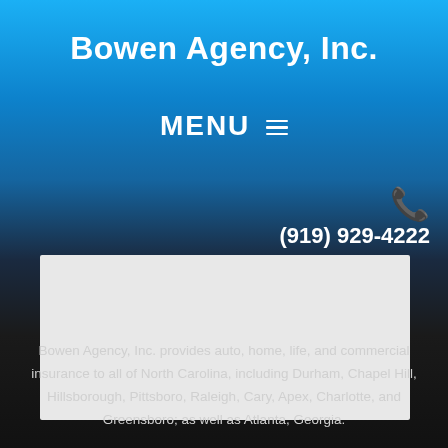Bowen Agency, Inc.
MENU ☰
(919) 929-4222
[Figure (other): Light gray placeholder content box]
Bowen Agency, Inc. provides auto, home, life, and commercial insurance to all of North Carolina, including Durham, Chapel Hill, Hillsborough, Pittsboro, Raleigh, Cary, Apex, Charlotte, and Greensboro; as well as Atlanta, Georgia.